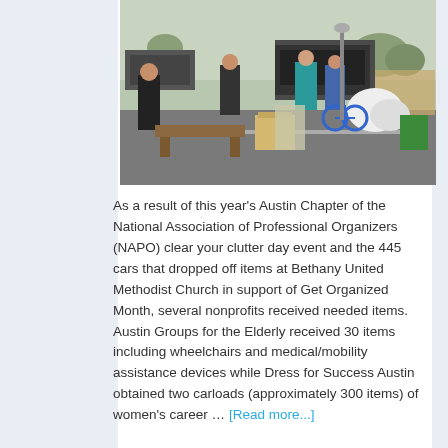[Figure (photo): Outdoor scene showing people unloading donated items including furniture, boxes, and other goods in a parking lot. A truck is visible in the background with people carrying items. A bicycle and various household goods are scattered around.]
As a result of this year's Austin Chapter of the National Association of Professional Organizers (NAPO) clear your clutter day event and the 445 cars that dropped off items at Bethany United Methodist Church in support of Get Organized Month, several nonprofits received needed items. Austin Groups for the Elderly received 30 items including wheelchairs and medical/mobility assistance devices while Dress for Success Austin obtained two carloads (approximately 300 items) of women's career … [Read more...]